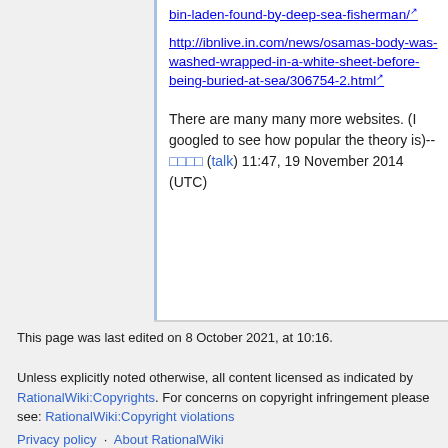bin-laden-found-by-deep-sea-fisherman/ [external link]
http://ibnlive.in.com/news/osamas-body-was-washed-wrapped-in-a-white-sheet-before-being-buried-at-sea/306754-2.html [external link]
There are many many more websites. (I googled to see how popular the theory is)--     (talk) 11:47, 19 November 2014 (UTC)
This page was last edited on 8 October 2021, at 10:16.
Unless explicitly noted otherwise, all content licensed as indicated by RationalWiki:Copyrights. For concerns on copyright infringement please see: RationalWiki:Copyright violations
Privacy policy · About RationalWiki